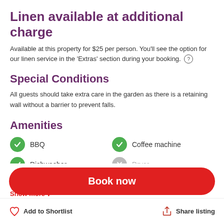Linen available at additional charge
Available at this property for $25 per person. You'll see the option for our linen service in the 'Extras' section during your booking.
Special Conditions
All guests should take extra care in the garden as there is a retaining wall without a barrier to prevent falls.
Amenities
BBQ
Coffee machine
Dishwasher
Dryer
Family Friendly
Fenced (fully)
Book now
Add to Shortlist
Share listing
Show more